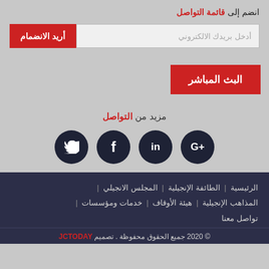انضم إلى قائمة التواصل
أدخل بريدك الالكتروني
أريد الانضمام
البث المباشر
مزيد من التواصل
[Figure (infographic): Four circular dark navy social media icons: Twitter (t), Facebook (f), LinkedIn (in), Google+ (G+)]
الرئيسية | الطائفة الإنجيلية | المجلس الانجيلي | المذاهب الإنجيلية | هيئة الأوقاف | خدمات ومؤسسات | تواصل معنا
© 2020 جميع الحقوق محفوظة . تصميم JCTODAY